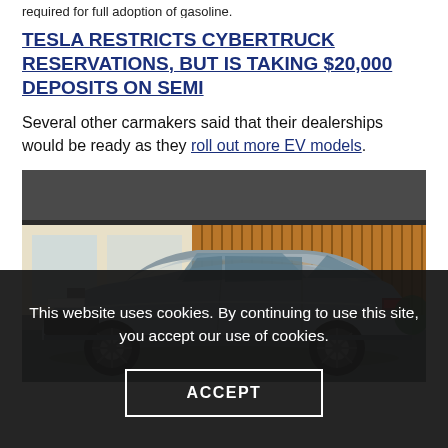required for full adoption of gasoline.
TESLA RESTRICTS CYBERTRUCK RESERVATIONS, BUT IS TAKING $20,000 DEPOSITS ON SEMI
Several other carmakers said that their dealerships would be ready as they roll out more EV models.
[Figure (photo): Photo of a silver Cadillac Lyriq electric vehicle parked in front of a modern building with wooden slat facade]
This website uses cookies. By continuing to use this site, you accept our use of cookies.
ACCEPT